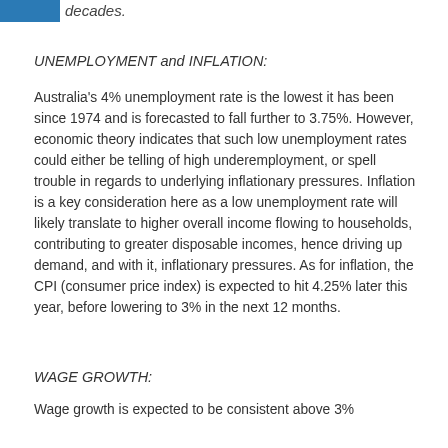decades.
UNEMPLOYMENT and INFLATION:
Australia's 4% unemployment rate is the lowest it has been since 1974 and is forecasted to fall further to 3.75%. However, economic theory indicates that such low unemployment rates could either be telling of high underemployment, or spell trouble in regards to underlying inflationary pressures. Inflation is a key consideration here as a low unemployment rate will likely translate to higher overall income flowing to households, contributing to greater disposable incomes, hence driving up demand, and with it, inflationary pressures. As for inflation, the CPI (consumer price index) is expected to hit 4.25% later this year, before lowering to 3% in the next 12 months.
WAGE GROWTH:
Wage growth is expected to be consistent above 3%